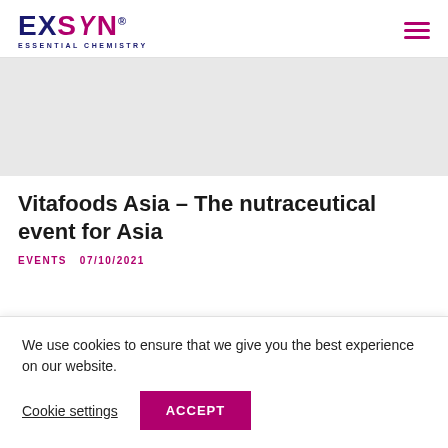[Figure (logo): EXSYN Essential Chemistry logo with dark blue and magenta/pink text]
[Figure (photo): Gray placeholder hero image area]
Vitafoods Asia – The nutraceutical event for Asia
EVENTS  07/10/2021
We use cookies to ensure that we give you the best experience on our website.
Cookie settings  ACCEPT